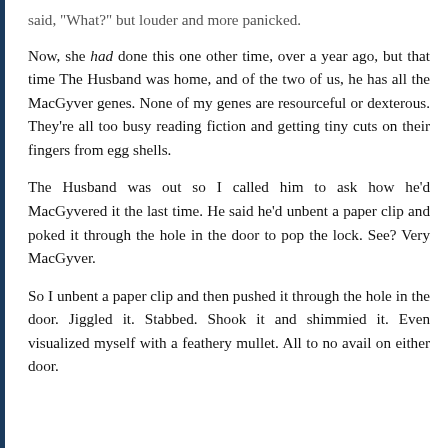said, "What?" but louder and more panicked.
Now, she had done this one other time, over a year ago, but that time The Husband was home, and of the two of us, he has all the MacGyver genes. None of my genes are resourceful or dexterous. They're all too busy reading fiction and getting tiny cuts on their fingers from egg shells.
The Husband was out so I called him to ask how he'd MacGyvered it the last time. He said he'd unbent a paper clip and poked it through the hole in the door to pop the lock. See? Very MacGyver.
So I unbent a paper clip and then pushed it through the hole in the door. Jiggled it. Stabbed. Shook it and shimmied it. Even visualized myself with a feathery mullet. All to no avail on either door.